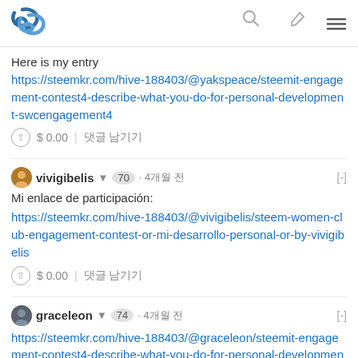Steemit logo with search, write, and menu icons
Here is my entry
https://steemkr.com/hive-188403/@yakspeace/steemit-engagement-contest4-describe-what-you-do-for-personal-development-swcengagement4
$ 0.00  |  댓글 남기기
vivigibelis ▼  70  · 4개월 전
Mi enlace de participación:
https://steemkr.com/hive-188403/@vivigibelis/steem-women-club-engagement-contest-or-mi-desarrollo-personal-or-by-vivigibelis
$ 0.00  |  댓글 남기기
graceleon ▼  74  · 4개월 전
https://steemkr.com/hive-188403/@graceleon/steemit-engagement-contest4-describe-what-you-do-for-personal-development-por-